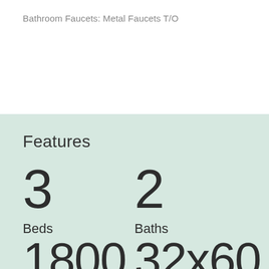Bathroom Faucets: Metal Faucets T/O
Features
3 Beds
2 Baths
1800
32x60